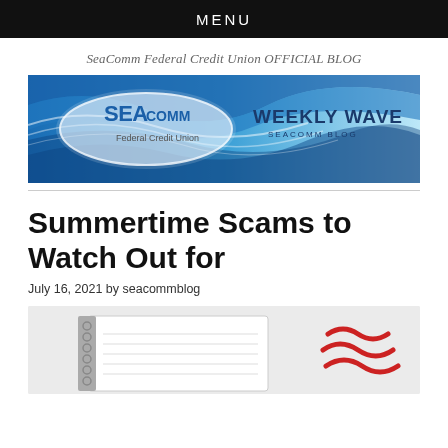MENU
SeaComm Federal Credit Union OFFICIAL BLOG
[Figure (logo): SeaComm Weekly Wave blog banner with blue wave design, SeaComm logo on left and 'WEEKLY WAVE SEACOMM BLOG' text on right]
Summertime Scams to Watch Out for
July 16, 2021 by seacommblog
[Figure (photo): Photo of a spiral notebook with red wave logo (SeaComm branding) on light background]